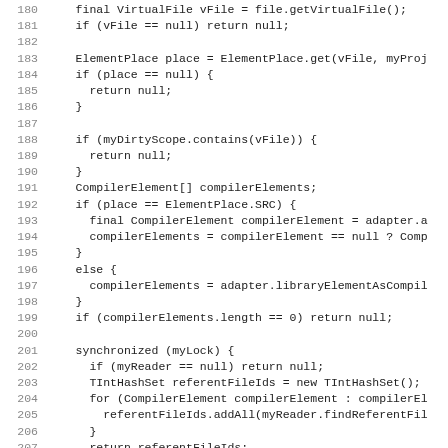Code listing lines 180-211, Java source code showing file/compiler element processing logic